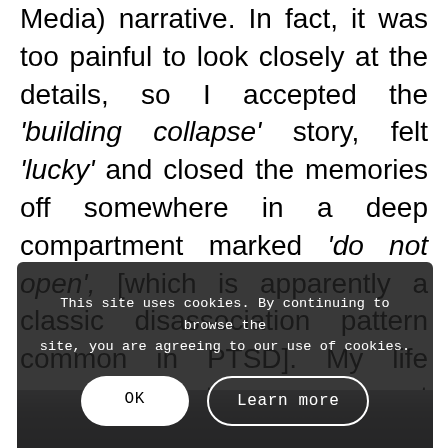Media) narrative. In fact, it was too painful to look closely at the details, so I accepted the 'building collapse' story, felt 'lucky' and closed the memories off somewhere in a deep compartment marked 'do not open', [which is apparently a classic disassociation pattern common in PTSD]. My life moved on, but many were not nearly so lucky, of course.
[Figure (screenshot): Cookie consent overlay on a dark background with two buttons: 'OK' and 'Learn more'. Text reads: 'This site uses cookies. By continuing to browse the site, you are agreeing to our use of cookies.']
[Figure (photo): Partial photo strip visible below the cookie overlay, appearing to show a crowd or rubble scene in muted blue-grey tones.]